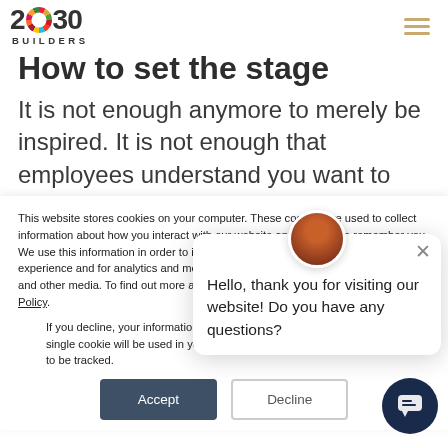2030 BUILDERS
How to set the stage
It is not enough anymore to merely be inspired. It is not enough that employees understand you want to act. The employees need to see how you act, they want your
This website stores cookies on your computer. These cookies are used to collect information about how you interact with our website and allow us to remember you. We use this information in order to improve and customize your browsing experience and for analytics and metrics about our visitors both on this website and other media. To find out more about the cookies we use, see our Privacy Policy.
If you decline, your information won't be tracked when you visit this website. A single cookie will be used in your browser to remember your preference not to be tracked.
Hello, thank you for visiting our website! Do you have any questions?